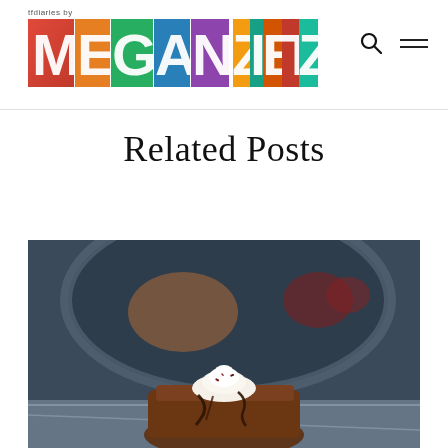tfdiaries by MEGAN ZIETZ
Related Posts
[Figure (photo): Close-up food photo of a chocolate dessert topped with whipped cream and chocolate sauce drizzle, with a dark pan blurred in the background]